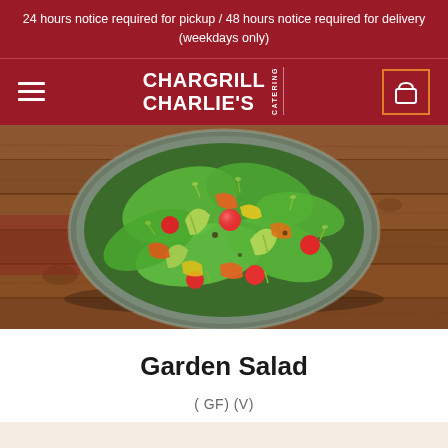24 hours notice required for pickup / 48 hours notice required for delivery (weekdays only)
[Figure (screenshot): Chargrill Charlie's Catering navigation bar with hamburger menu, logo, and cart button]
[Figure (photo): Overhead photo of a garden salad bowl with mixed greens, avocado, cherry tomatoes, capsicum, and micro herbs on a rustic wooden table]
Garden Salad
(GF) (V)